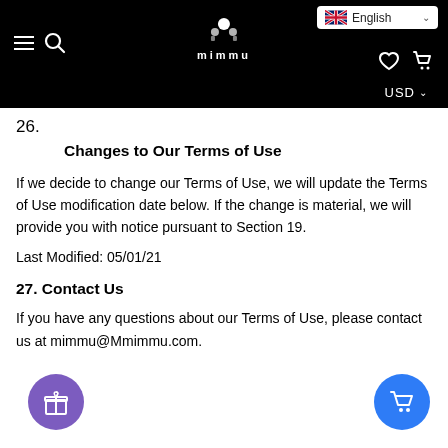mimmu — English / USD navigation header
26.
Changes to Our Terms of Use
If we decide to change our Terms of Use, we will update the Terms of Use modification date below. If the change is material, we will provide you with notice pursuant to Section 19.
Last Modified: 05/01/21
27. Contact Us
If you have any questions about our Terms of Use, please contact us at mimmu@Mmimmu.com.